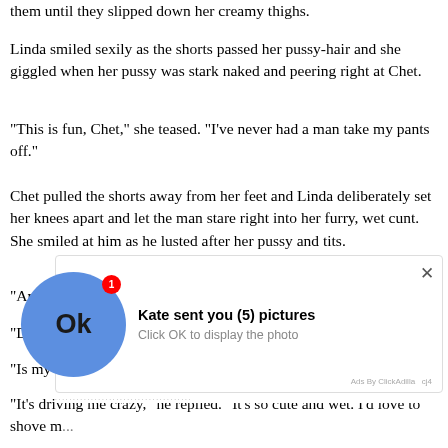them until they slipped down her creamy thighs.
Linda smiled sexily as the shorts passed her pussy-hair and she giggled when her pussy was stark naked and peering right at Chet.
"This is fun, Chet," she teased. "I've never had a man take my pants off."
Chet pulled the shorts away from her feet and Linda deliberately set her knees apart and let the man stare right into her furry, wet cunt. She smiled at him as he lusted after her pussy and tits.
"Am I pretty, Chet?" she wanted to know.
"Delicious!" he rasped.
"Is my cunt sexy?"
"It's driving me crazy," he replied. "It's so cute and wet. I'd love to shove m...
[Figure (screenshot): Ad overlay showing a blue circle with OK button and notification badge, with message 'Kate sent you (5) pictures - Click OK to display the photo'. Ads By ClickAdilla label visible.]
"Ohhh! I... her tits. '... man say...
She...